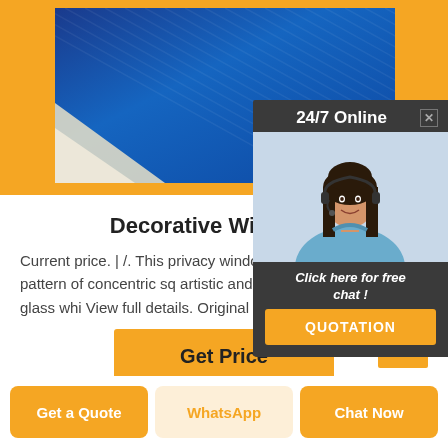[Figure (photo): Close-up photo of blue decorative window film with diagonal stripe texture pattern, shown with a light-colored corner]
Decorative Window Fi
Current price. | /. This privacy window film with an appealing pattern of concentric sq artistic and modern look to your glass whi View full details. Original price Current price | /.
[Figure (illustration): Live chat popup widget showing a female customer service agent with headset, '24/7 Online' header, 'Click here for free chat!' text and 'QUOTATION' button]
Get Price
Get a Quote
WhatsApp
Chat Now